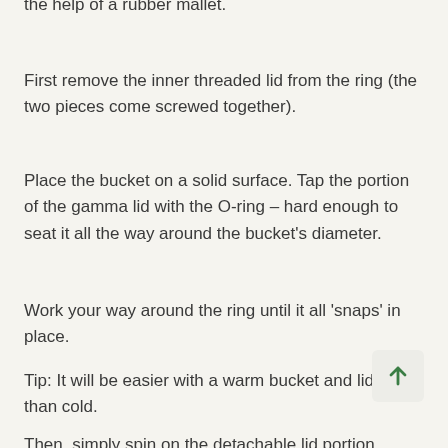the help of a rubber mallet.
First remove the inner threaded lid from the ring (the two pieces come screwed together).
Place the bucket on a solid surface. Tap the portion of the gamma lid with the O-ring – hard enough to seat it all the way around the bucket's diameter.
Work your way around the ring until it all 'snaps' in place.
Tip: It will be easier with a warm bucket and lid rather than cold.
Then, simply spin on the detachable lid portion.